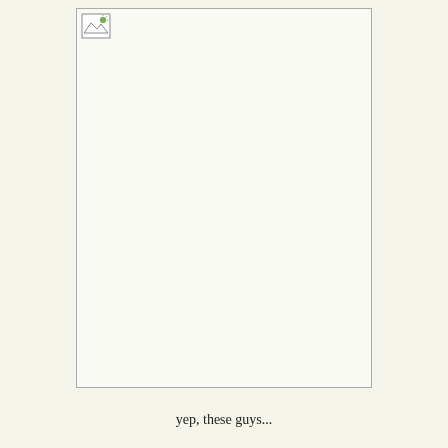[Figure (photo): A large rectangular image placeholder with a broken/missing image icon in the top-left corner. The box has a thin border and is mostly empty/white.]
yep, these guys...